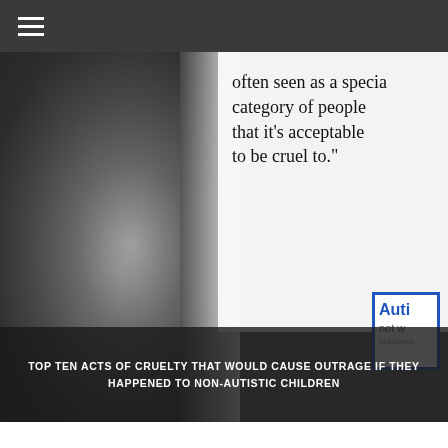≡ (navigation menu)
[Figure (photo): Hero image: black and white close-up photo of a child's face on the left, overlaid with a quote text on white background reading 'often seen as a special category of people that it’s acceptable to be cruel to.”' with an Autism Not W... blue-bordered box in bottom right.]
TOP TEN ACTS OF CRUELTY THAT WOULD CAUSE OUTRAGE IF THEY HAPPENED TO NON-AUTISTIC CHILDREN
25 RESPONSES
Ask a Teenage Aspie
14 September 2015 at 12:42 am
This post is brilliant! 🙂